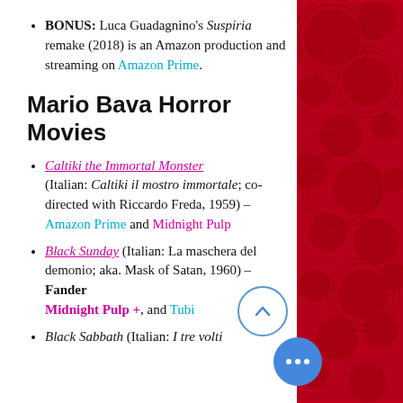BONUS: Luca Guadagnino's Suspiria remake (2018) is an Amazon production and streaming on Amazon Prime.
Mario Bava Horror Movies
Caltiki the Immortal Monster (Italian: Caltiki il mostro immortale; co-directed with Riccardo Freda, 1959) – Amazon Prime and Midnight Pulp
Black Sunday (Italian: La maschera del demonio; aka. Mask of Satan, 1960) – Fandor, Midnight Pulp +, and Tubi
Black Sabbath (Italian: I tre volti